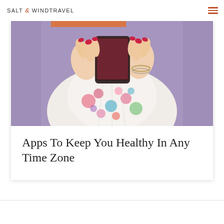SALT & WIND TRAVEL
[Figure (photo): Person in a white floral dress holding a smartphone, photographed against a purple brick wall. Only the torso and hands are visible. The person has red nail polish and bracelets.]
Apps To Keep You Healthy In Any Time Zone